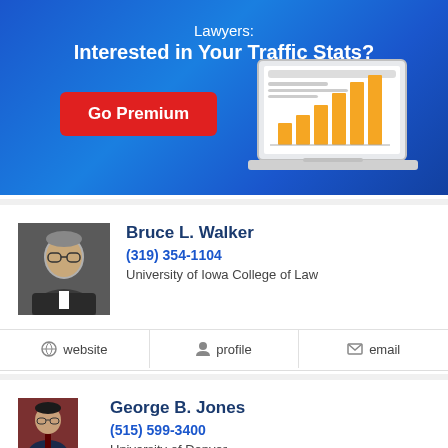[Figure (infographic): Blue banner advertisement for lawyer premium service showing a laptop with a bar chart and 'Go Premium' red button. Text reads 'Lawyers: Interested in Your Traffic Stats?']
Bruce L. Walker
(319) 354-1104
University of Iowa College of Law
website
profile
email
George B. Jones
(515) 599-3400
University of Denver